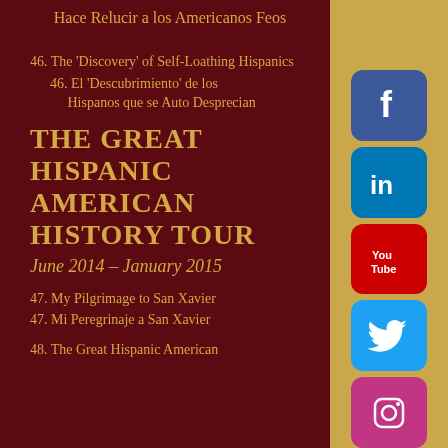Hace Relucir a los Americanos Feos
46. The ‘Discovery’ of Self-Loathing Hispanics
46. El ‘Descubrimiento’ de los Hispanos que se Auto Desprecian
THE GREAT HISPANIC AMERICAN HISTORY TOUR
June 2014 – January 2015
47. My Pilgrimage to San Xavier
47. Mi Peregrinaje a San Xavier
48. The Great Hispanic American
[Figure (infographic): Social media icons: Facebook, LinkedIn, YouTube, Twitter, Instagram arranged vertically on the right side]